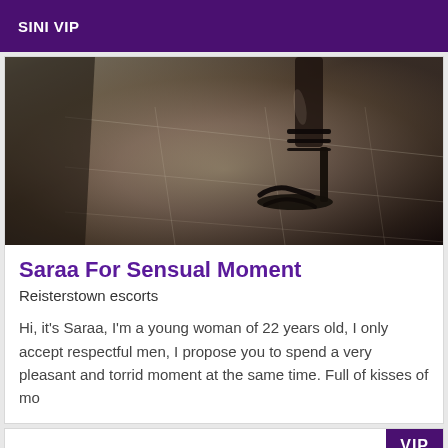SINI VIP
[Figure (photo): Close-up photo of a high-heeled strappy sandal shoe on a tiled floor, dark/moody lighting]
Saraa For Sensual Moment
Reisterstown escorts
Hi, it's Saraa, I'm a young woman of 22 years old, I only accept respectful men, I propose you to spend a very pleasant and torrid moment at the same time. Full of kisses of mo
[Figure (other): Empty card with VIP badge in top right corner]